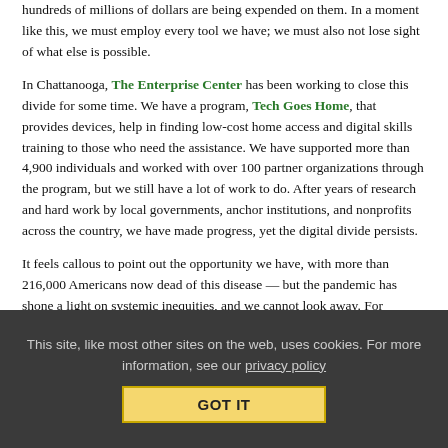hundreds of millions of dollars are being expended on them. In a moment like this, we must employ every tool we have; we must also not lose sight of what else is possible.
In Chattanooga, The Enterprise Center has been working to close this divide for some time. We have a program, Tech Goes Home, that provides devices, help in finding low-cost home access and digital skills training to those who need the assistance. We have supported more than 4,900 individuals and worked with over 100 partner organizations through the program, but we still have a lot of work to do. After years of research and hard work by local governments, anchor institutions, and nonprofits across the country, we have made progress, yet the digital divide persists.
It feels callous to point out the opportunity we have, with more than 216,000 Americans now dead of this disease — but the pandemic has shone a light on systemic inequities, and we cannot look away. For particularly those of us who have worked around digital access
This site, like most other sites on the web, uses cookies. For more information, see our privacy policy
GOT IT